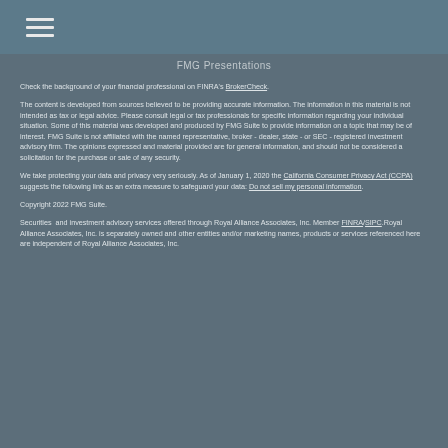FMG Presentations
Check the background of your financial professional on FINRA's BrokerCheck.
The content is developed from sources believed to be providing accurate information. The information in this material is not intended as tax or legal advice. Please consult legal or tax professionals for specific information regarding your individual situation. Some of this material was developed and produced by FMG Suite to provide information on a topic that may be of interest. FMG Suite is not affiliated with the named representative, broker - dealer, state - or SEC - registered investment advisory firm. The opinions expressed and material provided are for general information, and should not be considered a solicitation for the purchase or sale of any security.
We take protecting your data and privacy very seriously. As of January 1, 2020 the California Consumer Privacy Act (CCPA) suggests the following link as an extra measure to safeguard your data: Do not sell my personal information.
Copyright 2022 FMG Suite.
Securities and investment advisory services offered through Royal Alliance Associates, Inc. Member FINRA/SIPC.Royal Alliance Associates, Inc. is separately owned and other entities and/or marketing names, products or services referenced here are independent of Royal Alliance Associates, Inc.